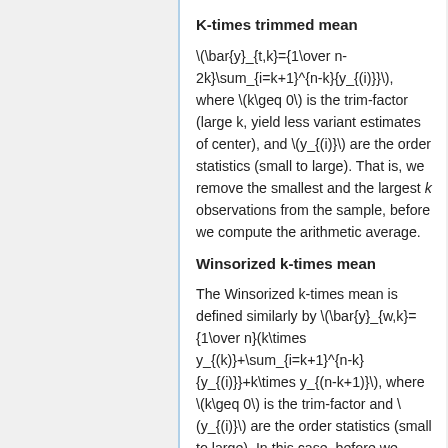K-times trimmed mean
\(\bar{y}_{t,k}={1\over n-2k}\sum_{i=k+1}^{n-k}{y_{(i)}}\), where \(k\geq 0\) is the trim-factor (large k, yield less variant estimates of center), and \(y_{(i)}\) are the order statistics (small to large). That is, we remove the smallest and the largest k observations from the sample, before we compute the arithmetic average.
Winsorized k-times mean
The Winsorized k-times mean is defined similarly by \(\bar{y}_{w,k}={1\over n}(k\times y_{(k)}+\sum_{i=k+1}^{n-k}{y_{(i)}}+k\times y_{(n-k+1)}\), where \(k\geq 0\) is the trim-factor and \(y_{(i)}\) are the order statistics (small to large). In this case, before we compute the